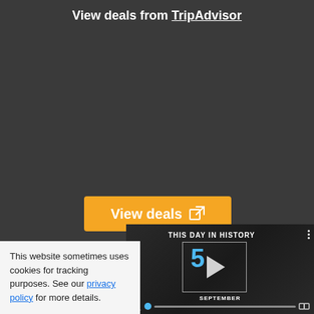View deals from TripAdvisor
[Figure (screenshot): Dark background area with orange 'View deals' button with external link icon]
[Figure (screenshot): Video overlay showing 'THIS DAY IN HISTORY' with number 5, SEPTEMBER label, play button, and video controls]
This website sometimes uses cookies for tracking purposes. See our privacy policy for more details.